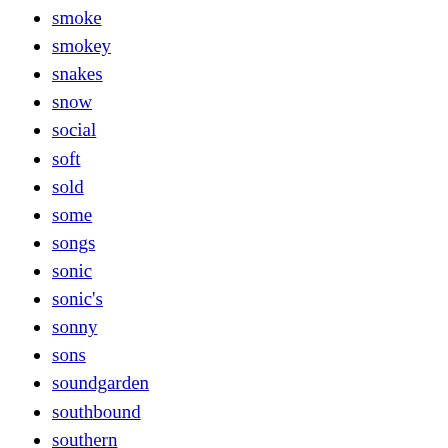smoke
smokey
snakes
snow
social
soft
sold
some
songs
sonic
sonic's
sonny
sons
soundgarden
southbound
southern
soviet
span
sparklehorse
spectacular
spinal
spirit
spizz
spoiled
spoon
squeeze
star
start